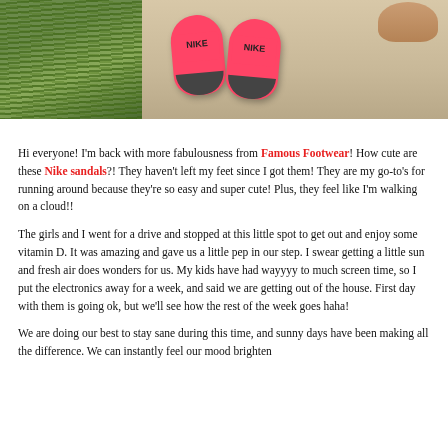[Figure (photo): Two-panel photo strip: left panel shows green grass/plant stalks in a garden; right panel shows pink Nike slide sandals on a concrete surface with a child's feet visible at top.]
Hi everyone! I'm back with more fabulousness from Famous Footwear! How cute are these Nike sandals?! They haven't left my feet since I got them! They are my go-to's for running around because they're so easy and super cute! Plus, they feel like I'm walking on a cloud!!
The girls and I went for a drive and stopped at this little spot to get out and enjoy some vitamin D. It was amazing and gave us a little pep in our step. I swear getting a little sun and fresh air does wonders for us. My kids have had wayyyy to much screen time, so I put the electronics away for a week, and said we are getting out of the house. First day with them is going ok, but we'll see how the rest of the week goes haha!
We are doing our best to stay sane during this time, and sunny days have been making all the difference. We can instantly feel our mood brighten